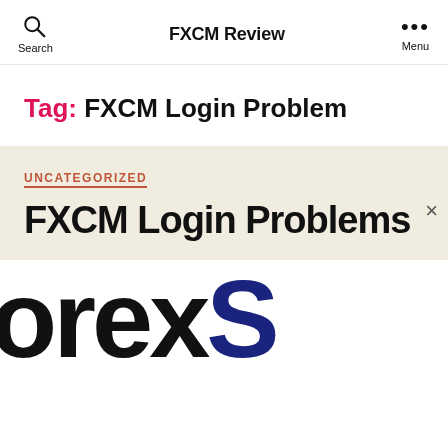FXCM Review
Tag: FXCM Login Problem
UNCATEGORIZED
FXCM Login Problems
[Figure (logo): Partial logo showing 'ForexS' in large bold black and dark blue text, cropped at edges]